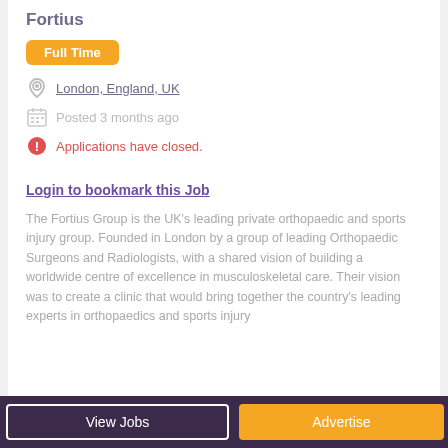Fortius
Full Time
London, England, UK
Posted 3 months ago
Applications have closed.
Login to bookmark this Job
The Fortius Group is the UK's leading private orthopaedic and sports injury group. Founded in London by a group of leading Orthopaedic Surgeons and Radiologists, with a shared vision of building a worldwide centre of excellence in musculoskeletal care. Their vision was to create a clinic that would bring together the country's leading experts in orthopaedics and sports injury
View Jobs   Advertise